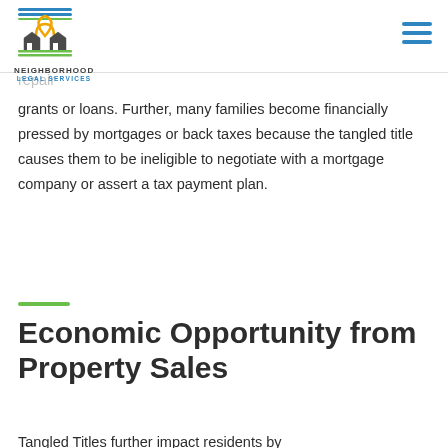NEIGHBORHOOD LEGAL SERVICES
provided and/or broken up in a residence without prior ownership, they are barred from accessing municipal services, free weatherization programs, or financial assistance like home repair grants or loans. Further, many families become financially pressed by mortgages or back taxes because the tangled title causes them to be ineligible to negotiate with a mortgage company or assert a tax payment plan.
Economic Opportunity from Property Sales
Tangled Titles further impact residents by